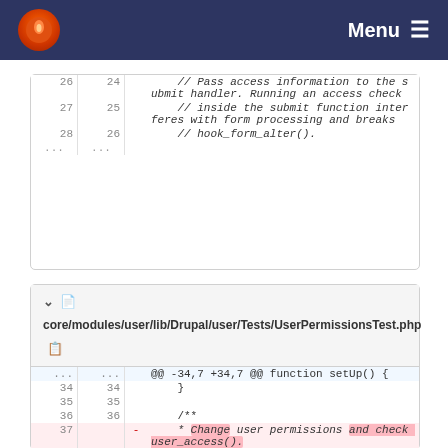Menu
[Figure (screenshot): Code diff panel showing lines 26-28 with comments about passing access information to submit handler]
[Figure (screenshot): Code diff panel for core/modules/user/lib/Drupal/user/Tests/UserPermissionsTest.php showing diff of line 37 changing from 'Change user permissions and check user_access()' to 'Test changing user permissions through the permissions page.']